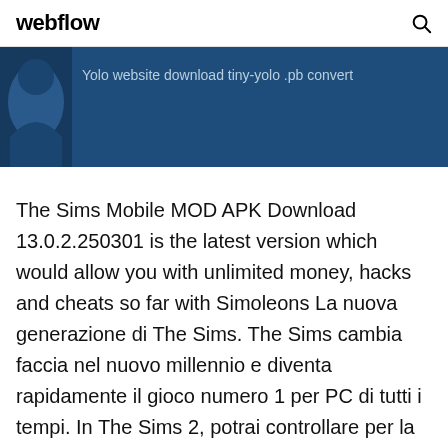webflow
[Figure (screenshot): Dark blue banner with a partially visible logo/figure on the left and text 'Yolo website download tiny-yolo .pb convert']
The Sims Mobile MOD APK Download 13.0.2.250301 is the latest version which would allow you with unlimited money, hacks and cheats so far with Simoleons La nuova generazione di The Sims. The Sims cambia faccia nel nuovo millennio e diventa rapidamente il gioco numero 1 per PC di tutti i tempi. In The Sims 2, potrai controllare per la prima volta i